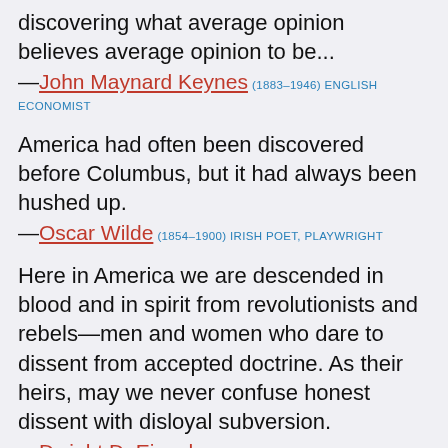discovering what average opinion believes average opinion to be...
—John Maynard Keynes (1883–1946) ENGLISH ECONOMIST
America had often been discovered before Columbus, but it had always been hushed up.
—Oscar Wilde (1854–1900) IRISH POET, PLAYWRIGHT
Here in America we are descended in blood and in spirit from revolutionists and rebels—men and women who dare to dissent from accepted doctrine. As their heirs, may we never confuse honest dissent with disloyal subversion.
—Dwight D. Eisenhower (1890–1969) AMERICAN HEAD OF STATE, MILITARY LEADER